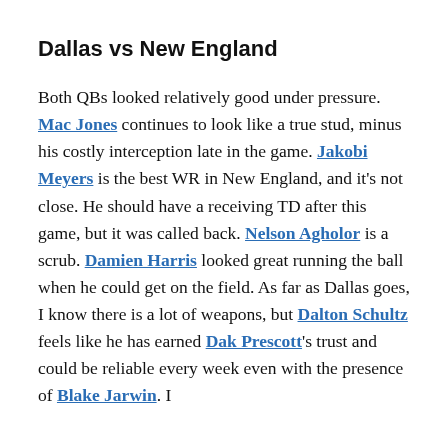Dallas vs New England
Both QBs looked relatively good under pressure. Mac Jones continues to look like a true stud, minus his costly interception late in the game. Jakobi Meyers is the best WR in New England, and it’s not close. He should have a receiving TD after this game, but it was called back. Nelson Agholor is a scrub. Damien Harris looked great running the ball when he could get on the field. As far as Dallas goes, I know there is a lot of weapons, but Dalton Schultz feels like he has earned Dak Prescott’s trust and could be reliable every week even with the presence of Blake Jarwin. I